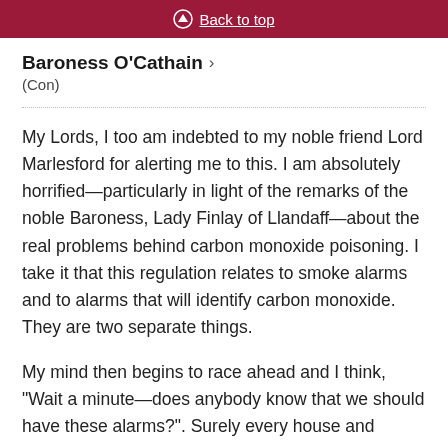Back to top
Baroness O'Cathain >
(Con)
My Lords, I too am indebted to my noble friend Lord Marlesford for alerting me to this. I am absolutely horrified—particularly in light of the remarks of the noble Baroness, Lady Finlay of Llandaff—about the real problems behind carbon monoxide poisoning. I take it that this regulation relates to smoke alarms and to alarms that will identify carbon monoxide. They are two separate things.
My mind then begins to race ahead and I think, "Wait a minute—does anybody know that we should have these alarms?". Surely every house and